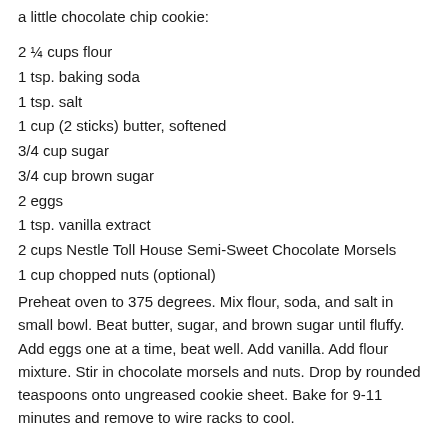a little chocolate chip cookie:
2 ¼ cups flour
1 tsp. baking soda
1 tsp. salt
1 cup (2 sticks) butter, softened
3/4 cup sugar
3/4 cup brown sugar
2 eggs
1 tsp. vanilla extract
2 cups Nestle Toll House Semi-Sweet Chocolate Morsels
1 cup chopped nuts (optional)
Preheat oven to 375 degrees. Mix flour, soda, and salt in small bowl. Beat butter, sugar, and brown sugar until fluffy. Add eggs one at a time, beat well. Add vanilla. Add flour mixture. Stir in chocolate morsels and nuts. Drop by rounded teaspoons onto ungreased cookie sheet. Bake for 9-11 minutes and remove to wire racks to cool.